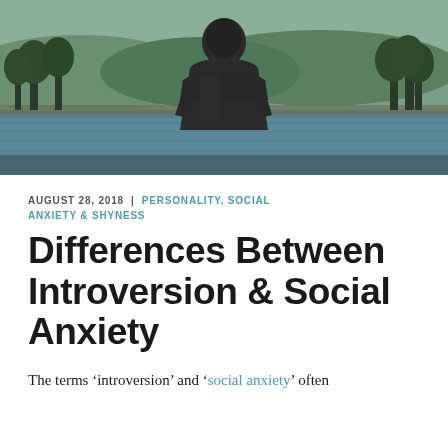[Figure (photo): A person with a hoodie standing with their back to the camera, looking out at a lake with green trees and mountains in the background. Dark, moody atmosphere.]
AUGUST 28, 2018  |  PERSONALITY, SOCIAL ANXIETY & SHYNESS
Differences Between Introversion & Social Anxiety
The terms 'introversion' and 'social anxiety' often